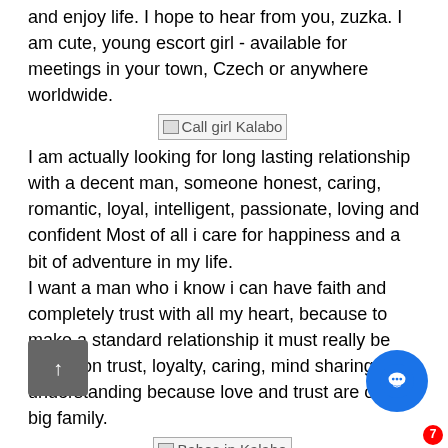and enjoy life. I hope to hear from you, zuzka. I am cute, young escort girl - available for meetings in your town, Czech or anywhere worldwide.
[Figure (photo): Broken image placeholder labeled 'Call girl Kalabo']
I am actually looking for long lasting relationship with a decent man, someone honest, caring, romantic, loyal, intelligent, passionate, loving and confident Most of all i care for happiness and a bit of adventure in my life. I want a man who i know i can have faith and completely trust with all my heart, because to make a standard relationship it must really be based on trust, loyalty, caring, mind sharing and understanding because love and trust are one big family.
[Figure (photo): Broken image placeholder labeled 'Babes in Kalabo']
I read and write too. I dont sit around on the computer all day moping, i have physical hobbies too. Hello, I am Vika - I am 23 years old, just move to Warsaw. Do you have a head full of worries? Login Signup. Signup Login Contact Admin. Emmy 26 Kalabo. Photo verified. Velia 22 Africa.